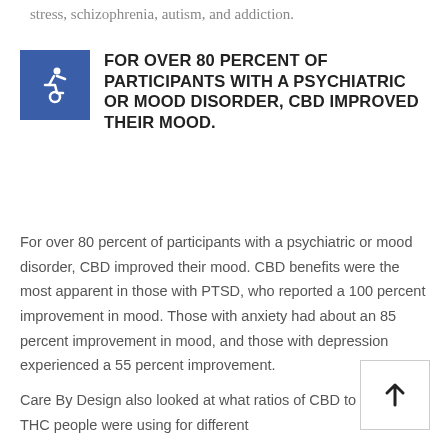stress, schizophrenia, autism, and addiction.
FOR OVER 80 PERCENT OF PARTICIPANTS WITH A PSYCHIATRIC OR MOOD DISORDER, CBD IMPROVED THEIR MOOD.
For over 80 percent of participants with a psychiatric or mood disorder, CBD improved their mood. CBD benefits were the most apparent in those with PTSD, who reported a 100 percent improvement in mood. Those with anxiety had about an 85 percent improvement in mood, and those with depression experienced a 55 percent improvement.
Care By Design also looked at what ratios of CBD to THC people were using for different